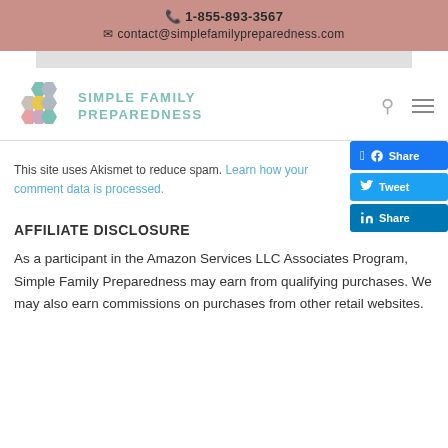📞 1-855-893-3567
✉ contact@simplefamilypreparedness.com
[Figure (logo): Simple Family Preparedness logo with honeycomb hexagons and teal text]
This site uses Akismet to reduce spam. Learn how your comment data is processed.
AFFILIATE DISCLOSURE
As a participant in the Amazon Services LLC Associates Program, Simple Family Preparedness may earn from qualifying purchases. We may also earn commissions on purchases from other retail websites.